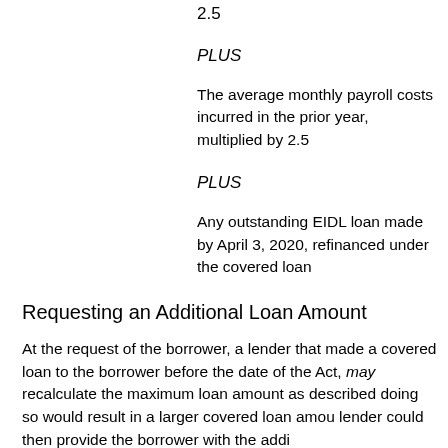2.5
PLUS
The average monthly payroll costs incurred in the prior year, multiplied by 2.5
PLUS
Any outstanding EIDL loan made by April 3, 2020, refinanced under the covered loan
Requesting an Additional Loan Amount
At the request of the borrower, a lender that made a covered loan to the borrower before the date of the Act, may recalculate the maximum loan amount as described doing so would result in a larger covered loan amount. lender could then provide the borrower with the additional